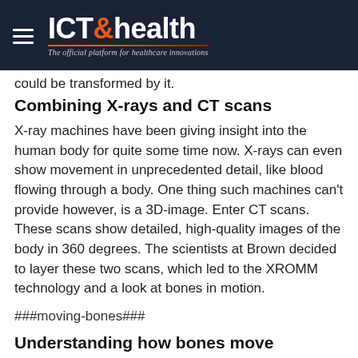ICT& health — The official platform for healthcare innovations
could be transformed by it.
Combining X-rays and CT scans
X-ray machines have been giving insight into the human body for quite some time now. X-rays can even show movement in unprecedented detail, like blood flowing through a body. One thing such machines can't provide however, is a 3D-image. Enter CT scans. These scans show detailed, high-quality images of the body in 360 degrees. The scientists at Brown decided to layer these two scans, which led to the XROMM technology and a look at bones in motion.
###moving-bones###
Understanding how bones move
The scientists have been giving scientists a look at bones